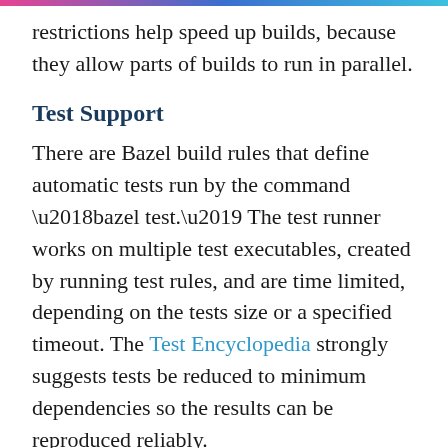restrictions help speed up builds, because they allow parts of builds to run in parallel.
Test Support
There are Bazel build rules that define automatic tests run by the command ‘bazel test.’ The test runner works on multiple test executables, created by running test rules, and are time limited, depending on the tests size or a specified timeout. The Test Encyclopedia strongly suggests tests be reduced to minimum dependencies so the results can be reproduced reliably.
Bazel Query
A particularly strong feature is the Bazel Query language, which is used to analyze build